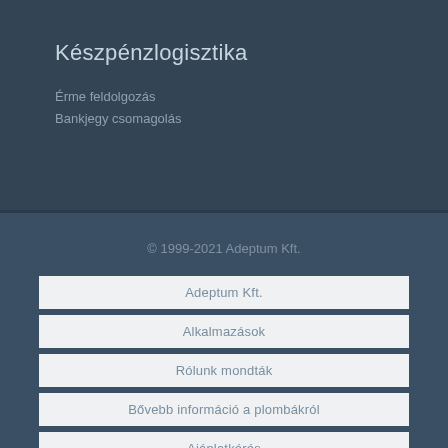Készpénzlogisztika
Érme feldolgozás
Bankjegy csomagolás
© 1999-2021 Adeptum Kft.
Adeptum Kft.
Alkalmazások
Rólunk mondták
Bővebb információ a plombákról
Ajánlatkérés
Kapcsolat